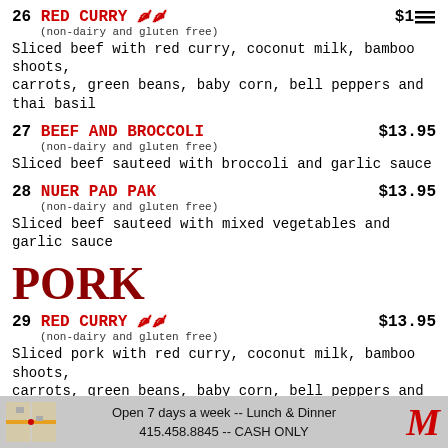26 RED CURRY (chili x2) $1[partial] (non-dairy and gluten free) Sliced beef with red curry, coconut milk, bamboo shoots, carrots, green beans, baby corn, bell peppers and thai basil
27 BEEF AND BROCCOLI $13.95 (non-dairy and gluten free) Sliced beef sauteed with broccoli and garlic sauce
28 NUER PAD PAK $13.95 (non-dairy and gluten free) Sliced beef sauteed with mixed vegetables and garlic sauce
PORK
29 RED CURRY (chili x2) $13.95 (non-dairy and gluten free) Sliced pork with red curry, coconut milk, bamboo shoots, carrots, green beans, baby corn, bell peppers and thai basil
30 GREEN CURRY (chili x1) $13.95 (non-dairy and gluten free)
Open 7 days a week -- Lunch & Dinner
415.458.8845 -- CASH ONLY